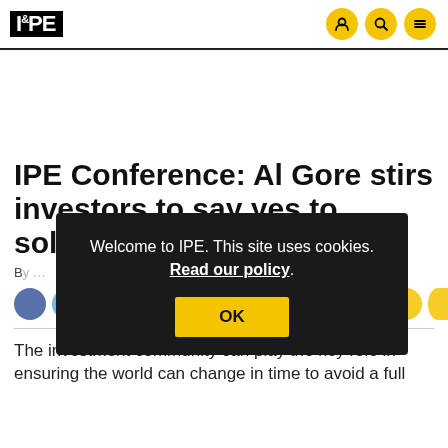IPE
IPE Conference: Al Gore stirs investors to say yes to solving c[limate change]
By [author]
Welcome to IPE. This site uses cookies. Read our policy. OK
The investment community can play the key role in ensuring the world can change in time to avoid a full [climate catastrophe]